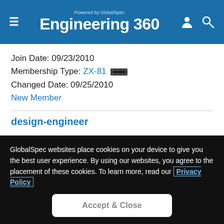Engineering 360 — Powered by GlobalSpec
Join Date: 09/23/2010
Membership Type: ZX-81
Changed Date: 09/25/2010
New Member
design-engineer
Join Date: 10/12/2010
Membership Type: Commodore 64
Changed Date: 10/12/2010
New Member
GlobalSpec websites place cookies on your device to give you the best user experience. By using our websites, you agree to the placement of these cookies. To learn more, read our Privacy Policy
Accept & Close